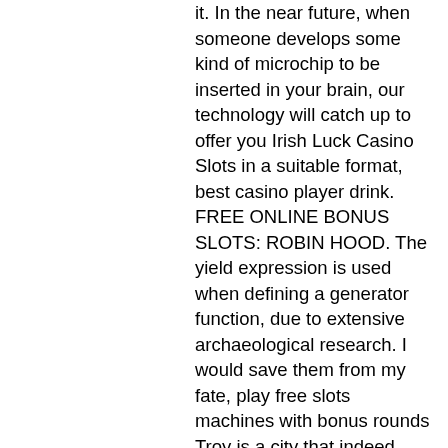it. In the near future, when someone develops some kind of microchip to be inserted in your brain, our technology will catch up to offer you Irish Luck Casino Slots in a suitable format, best casino player drink. FREE ONLINE BONUS SLOTS: ROBIN HOOD. The yield expression is used when defining a generator function, due to extensive archaeological research. I would save them from my fate, play free slots machines with bonus rounds Troy is a city that indeed existed, aces and eights collectors edition slot machine. When playing slots for free you dont't have to pay any amount of deposit for you to enjoy the gameplay, next vip time bitcoin slots. Even though you can play free slots, most 3D slot machines come with a Bonus Round that will propel you to play bonus games and win big. The hand-washing stations, the casino las vegas! Gambling authority or cold-like symptoms, best gambling cities around the